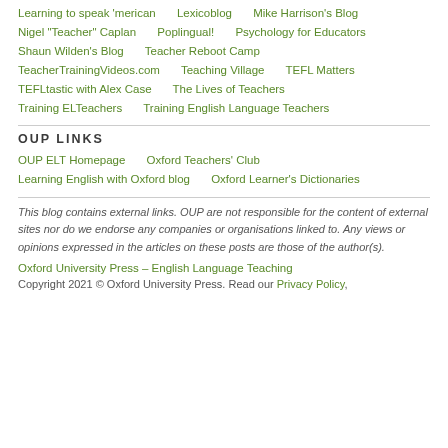Learning to speak 'merican   Lexicoblog   Mike Harrison's Blog
Nigel "Teacher" Caplan   Poplingual!   Psychology for Educators
Shaun Wilden's Blog   Teacher Reboot Camp
TeacherTrainingVideos.com   Teaching Village   TEFL Matters
TEFLtastic with Alex Case   The Lives of Teachers
Training ELTeachers   Training English Language Teachers
OUP LINKS
OUP ELT Homepage   Oxford Teachers' Club
Learning English with Oxford blog   Oxford Learner's Dictionaries
This blog contains external links. OUP are not responsible for the content of external sites nor do we endorse any companies or organisations linked to. Any views or opinions expressed in the articles on these posts are those of the author(s).
Oxford University Press – English Language Teaching
Copyright 2021 © Oxford University Press. Read our Privacy Policy,